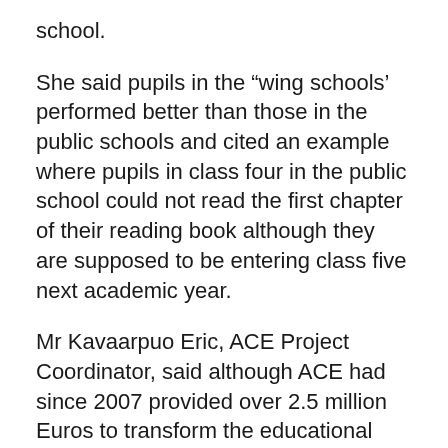school.
She said pupils in the “wing schools’ performed better than those in the public schools and cited an example where pupils in class four in the public school could not read the first chapter of their reading book although they are supposed to be entering class five next academic year.
Mr Kavaarpuo Eric, ACE Project Coordinator, said although ACE had since 2007 provided over 2.5 million Euros to transform the educational sector in the Gushegu and Karaga districts, recent assessments shows that the policies were not properly carried out.